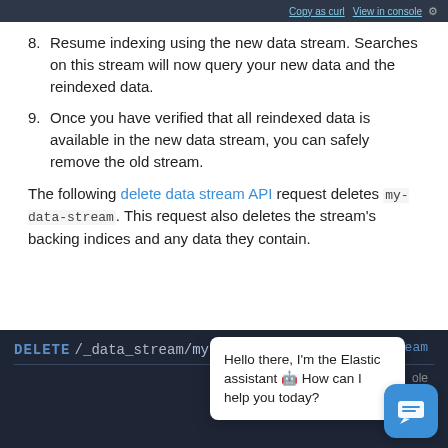Copy as curl  View in console
8. Resume indexing using the new data stream. Searches on this stream will now query your new data and the reindexed data.
9. Once you have verified that all reindexed data is available in the new data stream, you can safely remove the old stream.
The following delete data stream API request deletes my-data-stream. This request also deletes the stream's backing indices and any data they contain.
[Figure (screenshot): Dark-themed code block showing: DELETE /_data_stream/my-data-stream with a chat popup overlay: 'Hello there, I'm the Elastic assistant 🤖 How can I help you today?' and a blue chat icon button in the lower right.]